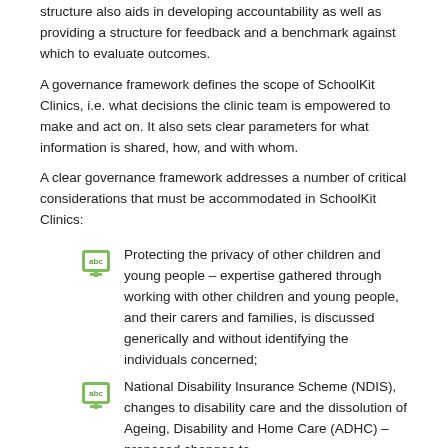structure also aids in developing accountability as well as providing a structure for feedback and a benchmark against which to evaluate outcomes.
A governance framework defines the scope of SchoolKit Clinics, i.e. what decisions the clinic team is empowered to make and act on. It also sets clear parameters for what information is shared, how, and with whom.
A clear governance framework addresses a number of critical considerations that must be accommodated in SchoolKit Clinics:
Protecting the privacy of other children and young people – expertise gathered through working with other children and young people, and their carers and families, is discussed generically and without identifying the individuals concerned;
National Disability Insurance Scheme (NDIS), changes to disability care and the dissolution of Ageing, Disability and Home Care (ADHC) – proposed changes to